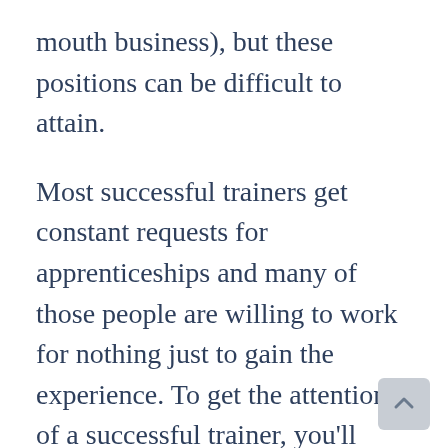mouth business), but these positions can be difficult to attain.
Most successful trainers get constant requests for apprenticeships and many of those people are willing to work for nothing just to gain the experience. To get the attention of a successful trainer, you'll need to be persistent, humble and willing to work hard in any role. Most trainers will initially say no, but if you are persistent, you may get a foot in the door. But what most trainers have learned is that few people have the work ethic and stick-to-it-ness to actually last. So you'll